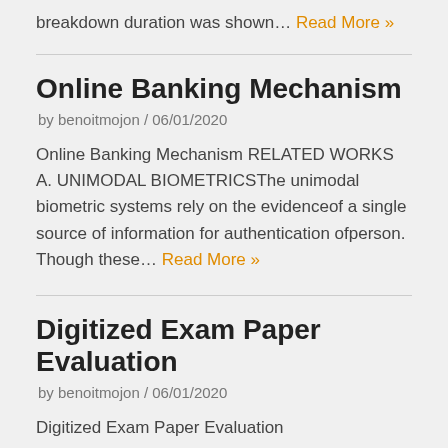breakdown duration was shown… Read More »
Online Banking Mechanism
by benoitmojon / 06/01/2020
Online Banking Mechanism RELATED WORKS A. UNIMODAL BIOMETRICSThe unimodal biometric systems rely on the evidenceof a single source of information for authentication ofperson. Though these… Read More »
Digitized Exam Paper Evaluation
by benoitmojon / 06/01/2020
Digitized Exam Paper Evaluation INTRODUCTION